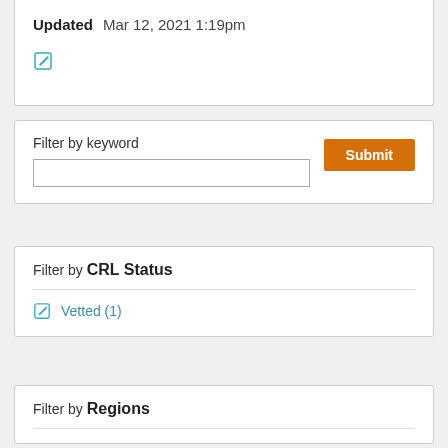Updated   Mar 12, 2021 1:19pm
[Figure (illustration): Edit/pencil icon in teal/green color]
Filter by keyword
[Figure (screenshot): Text input field for keyword filter]
Submit
Filter by CRL Status
[Figure (illustration): Checkbox edit icon in teal color]
Vetted (1)
Filter by Regions